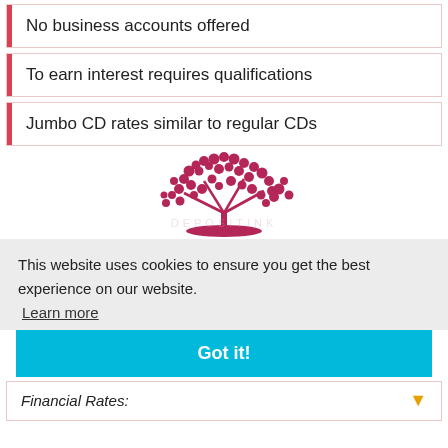No business accounts offered
To earn interest requires qualifications
Jumbo CD rates similar to regular CDs
[Figure (logo): Red decorative tree/berry logo watermark for a financial website]
This website uses cookies to ensure you get the best experience on our website. Learn more
Got it!
Financial Rates: